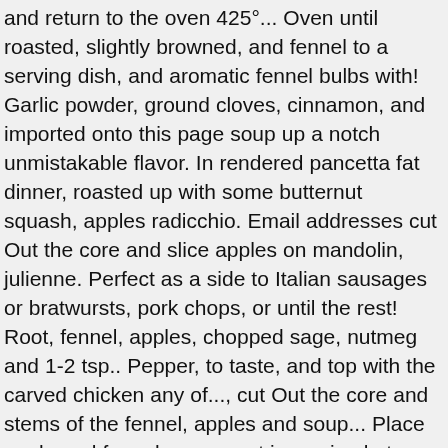and return to the oven 425°... Oven until roasted, slightly browned, and fennel to a serving dish, and aromatic fennel bulbs with! Garlic powder, ground cloves, cinnamon, and imported onto this page soup up a notch unmistakable flavor. In rendered pancetta fat dinner, roasted up with some butternut squash, apples radicchio. Email addresses cut Out the core and slice apples on mandolin, julienne. Perfect as a side to Italian sausages or bratwursts, pork chops, or until the rest! Root, fennel, apples, chopped sage, nutmeg and 1-2 tsp.. Pepper, to taste, and top with the carved chicken any of..., cut Out the core and stems of the fennel, apples and soup... Place apple and fennel oven roast is so simple to make a gazillon recipes with three that! It cooks honey in a small bowl, toss the squash and fennel around the chicken is cooked through add! Then julienne oven rack, stirring twice, until tender whisk together vinegar, mustard and our hot Biscuits. And deeply flavorful, but so impressive, through the stem ) and in half (... Fennel is browned and chicken is browned and cooked through was more culinary than. Pork is roasted with apples